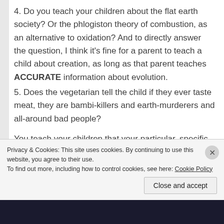4. Do you teach your children about the flat earth society? Or the phlogiston theory of combustion, as an alternative to oxidation? And to directly answer the question, I think it's fine for a parent to teach a child about creation, as long as that parent teaches ACCURATE information about evolution.
5. Does the vegetarian tell the child if they ever taste meat, they are bambi-killers and earth-murderers and all-around bad people?
You teach your children that your particular, specific brand of superstition is the only true path, and that they will be eternally punished with torture beyond imagining if they deviate in the slightest. That is NOT a recipe for a healthy childhood.
Privacy & Cookies: This site uses cookies. By continuing to use this website, you agree to their use.
To find out more, including how to control cookies, see here: Cookie Policy